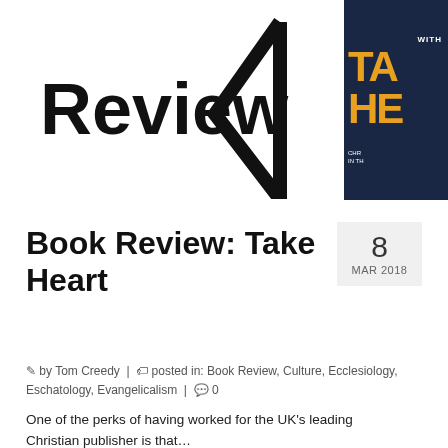[Figure (logo): Book review website logo: bold text 'Review' with a left-pointing triangle/chevron shape in black outline]
[Figure (photo): Book cover partially visible: dark navy background with large orange letters 'TA' and 'HE' (Take Heart), white text 'WITH' at top and 'CHR IN TH' at bottom]
Book Review: Take Heart
8 MAR 2018
by Tom Creedy | posted in: Book Review, Culture, Ecclesiology, Eschatology, Evangelicalism | 0
One of the perks of having worked for the UK's leading Christian publisher is that…